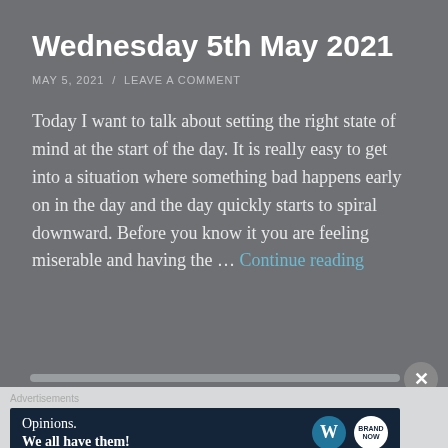Wednesday 5th May 2021
MAY 5, 2021  /  LEAVE A COMMENT
Today I want to talk about setting the right state of mind at the start of the day. It is really easy to get into a situation where something bad happens early on in the day and the day quickly starts to spiral downward. Before you know it you are feeling miserable and having the … Continue reading
[Figure (screenshot): Advertisement banner with text 'Opinions. We all have them!' alongside WordPress and Brand logos on dark background]